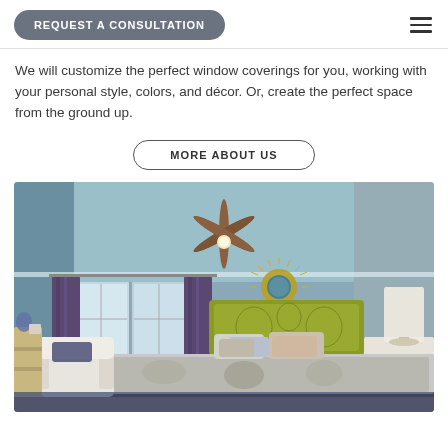REQUEST A CONSULTATION
We will customize the perfect window coverings for you, working with your personal style, colors, and décor. Or, create the perfect space from the ground up.
MORE ABOUT US
[Figure (photo): Interior bedroom photo showing a decorated bedroom with blue/gray walls, purple curtains, ceiling fan, ornate sunburst mirror, decorative bed with patterned quilt and pillows, white armchair, wood dresser, and white nightstands with lamps.]